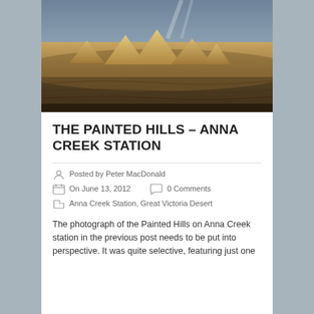[Figure (photo): Aerial view of the Painted Hills at Anna Creek Station showing arid desert landscape with ochre-colored mounds/hills, excavated terrain, and dramatic cloudy sky.]
THE PAINTED HILLS – ANNA CREEK STATION
Posted by Peter MacDonald
On June 13, 2012   0 Comments
Anna Creek Station, Great Victoria Desert
The photograph of the Painted Hills on Anna Creek station in the previous post needs to be put into perspective. It was quite selective, featuring just one